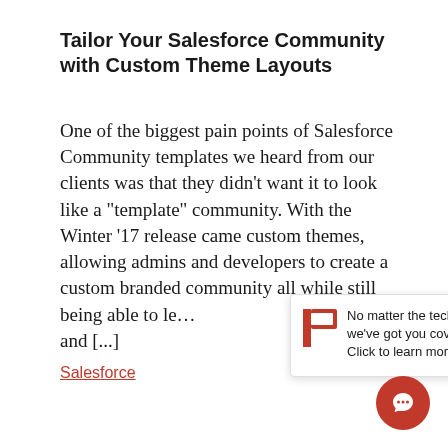Tailor Your Salesforce Community with Custom Theme Layouts
One of the biggest pain points of Salesforce Community templates we heard from our clients was that they didn’t want it to look like a “template” community. With the Winter ’17 release came custom themes, allowing admins and developers to create a custom branded community all while still being able to le… and [...]
[Figure (infographic): Popup notification with a red P logo and text: No matter the technology, we’ve got you covered! Click to learn more. With a close X button.]
Salesforce
[Figure (illustration): Red circular chat bubble button in the bottom right corner.]